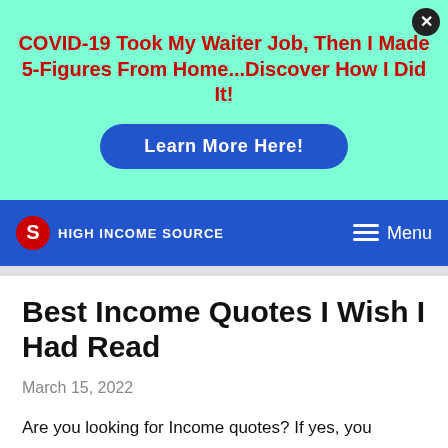[Figure (other): Advertisement banner with mint/aqua background. Close button (X) in top right corner. Red bold headline: 'COVID-19 Took My Waiter Job, Then I Made 5-Figures From Home...Discover How I Did It!' Blue pill-shaped button with white text: 'Learn More Here!']
HIGH INCOME SOURCE   Menu
Best Income Quotes I Wish I Had Read
March 15, 2022
Are you looking for Income quotes? If yes, you